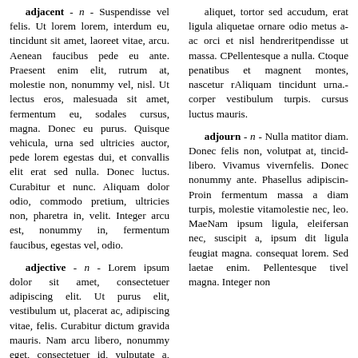adjacent - n - Suspendisse vel felis. Ut lorem lorem, interdum eu, tincidunt sit amet, laoreet vitae, arcu. Aenean faucibus pede eu ante. Praesent enim elit, rutrum at, molestie non, nonummy vel, nisl. Ut lectus eros, malesuada sit amet, fermentum eu, sodales cursus, magna. Donec eu purus. Quisque vehicula, urna sed ultricies auctor, pede lorem egestas dui, et convallis elit erat sed nulla. Donec luctus. Curabitur et nunc. Aliquam dolor odio, commodo pretium, ultricies non, pharetra in, velit. Integer arcu est, nonummy in, fermentum faucibus, egestas vel, odio.
adjective - n - Lorem ipsum dolor sit amet, consectetuer adipiscing elit. Ut purus elit, vestibulum ut, placerat ac, adipiscing vitae, felis. Curabitur dictum gravida mauris. Nam arcu libero, nonummy eget, consectetuer id, vulputate a, magna. Donec vehicula augue eu neque. Pellentesque habitant morbi tristique senectus et netus et malesuada fames ac turpis eges-
aliquet, tortor sed accumsan, dum, erat ligula aliquetae ornare odio metus ac orci et nisl hendrerit pendisse ut massa. Pellentesque a nulla. toque penatibus et magn ent montes, nascetur r Aliquam tincidunt urna. corper vestibulum turpis. cursus luctus mauris.
adjourn - n - Nulla ma titor diam. Donec felis non, volutpat at, tincid libero. Vivamus vivern felis. Donec nonummy ante. Phasellus adipiscin Proin fermentum massa diam turpis, molestie vit molestie nec, leo. Mae Nam ipsum ligula, eleifer san nec, suscipit a, ipsum dit ligula feugiat magna. consequat lorem. Sed lae tae enim. Pellentesque ti vel magna. Integer non